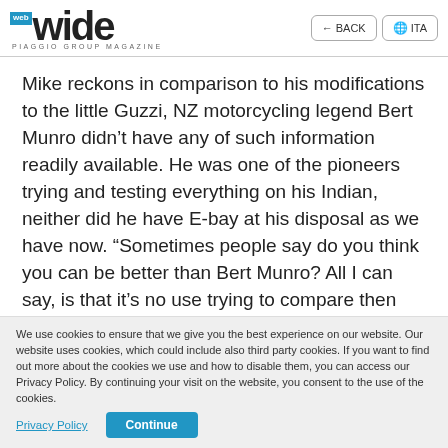web wide PIAGGIO GROUP MAGAZINE | BACK | ITA
Mike reckons in comparison to his modifications to the little Guzzi, NZ motorcycling legend Bert Munro didn't have any of such information readily available. He was one of the pioneers trying and testing everything on his Indian, neither did he have E-bay at his disposal as we have now. “Sometimes people say do you think you can be better than Bert Munro? All I can say, is that it’s no use trying to compare then and now. as we are in a different era
We use cookies to ensure that we give you the best experience on our website. Our website uses cookies, which could include also third party cookies. If you want to find out more about the cookies we use and how to disable them, you can access our Privacy Policy. By continuing your visit on the website, you consent to the use of the cookies.  Privacy Policy   Continue